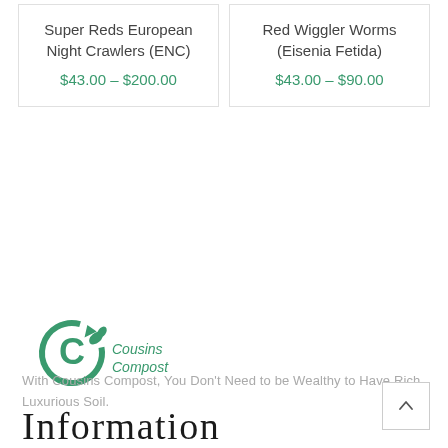Super Reds European Night Crawlers (ENC)
$43.00 – $200.00
Red Wiggler Worms (Eisenia Fetida)
$43.00 – $90.00
[Figure (logo): Cousins Compost logo with green circular arrow C and leaf icon]
With Cousins Compost, You Don't Need to be Wealthy to Have Rich Luxurious Soil.
Information